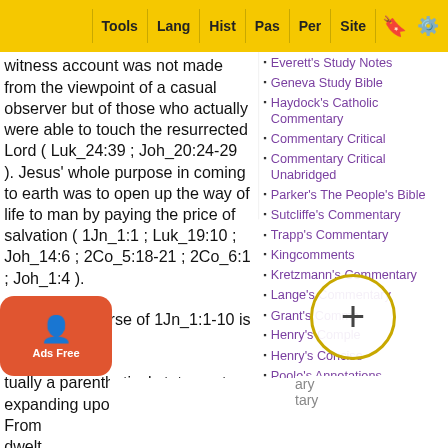Tools | Lang | Hist | Pas | Per | Site
witness account was not made from the viewpoint of a casual observer but of those who actually were able to touch the resurrected Lord ( Luk_24:39 ; Joh_20:24-29 ). Jesus' whole purpose in coming to earth was to open up the way of life to man by paying the price of salvation ( 1Jn_1:1 ; Luk_19:10 ; Joh_14:6 ; 2Co_5:18-21 ; 2Co_6:1 ; Joh_1:4 ).
The second verse of 1Jn_1:1-10 is actually a parenthetical statement expanding upon the though
From
dwelt
Everett's Study Notes
Geneva Study Bible
Haydock's Catholic Commentary
Commentary Critical
Commentary Critical Unabridged
Parker's The People's Bible
Sutcliffe's Commentary
Trapp's Commentary
Kingcomments
Kretzmann's Commentary
Lange's Commentary
Grant's Commentary
Henry's Complete
Henry's Concise
Poole's Annotations